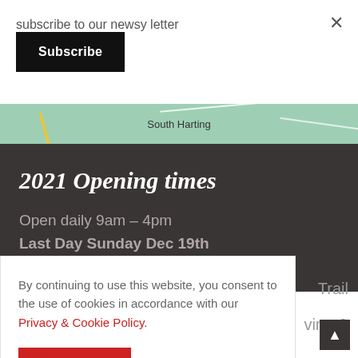subscribe to our newsy letter
×
Subscribe
[Figure (map): A partial map showing South Harting area with green background, yellow road, and white road lines.]
2021 Opening times
Open daily 9am – 4pm
Last Day Sunday Dec 19th
By continuing to use this website, you consent to the use of cookies in accordance with our Privacy & Cookie Policy.
ACCEPT
Trail
vine &